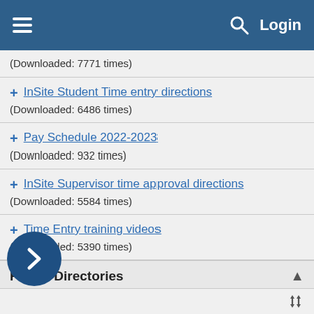Login
(Downloaded: 7771 times)
InSite Student Time entry directions
(Downloaded: 6486 times)
Pay Schedule 2022-2023
(Downloaded: 932 times)
InSite Supervisor time approval directions
(Downloaded: 5584 times)
Time Entry training videos
(Downloaded: 5390 times)
Phone Directories
Mount Aloysius College maintains the voicemail and phone switch on 24/7. To place calls on campus simply dial the 4-digit extension.